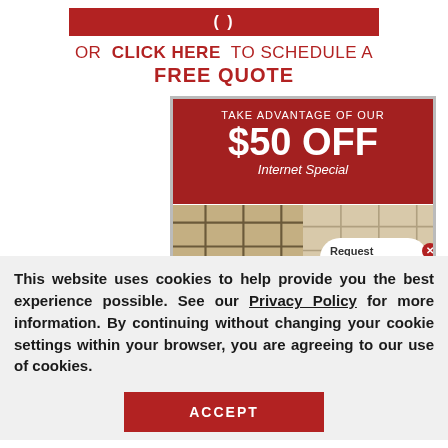OR CLICK HERE TO SCHEDULE A FREE QUOTE
[Figure (infographic): Red promotional box with text 'TAKE ADVANTAGE OF OUR $50 OFF Internet Special' with before/after tile cleaning images and a 'Request a Free' popup button]
This website uses cookies to help provide you the best experience possible. See our Privacy Policy for more information. By continuing without changing your cookie settings within your browser, you are agreeing to our use of cookies.
ACCEPT